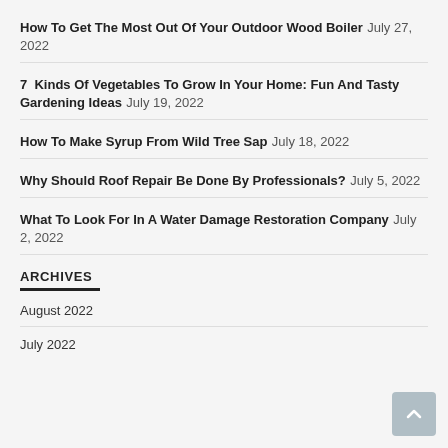How To Get The Most Out Of Your Outdoor Wood Boiler July 27, 2022
7 Kinds Of Vegetables To Grow In Your Home: Fun And Tasty Gardening Ideas July 19, 2022
How To Make Syrup From Wild Tree Sap July 18, 2022
Why Should Roof Repair Be Done By Professionals? July 5, 2022
What To Look For In A Water Damage Restoration Company July 2, 2022
ARCHIVES
August 2022
July 2022